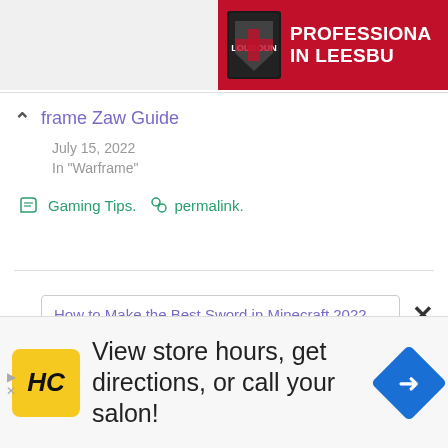[Figure (screenshot): Red banner ad with shield logo and text 'PROFESSIONAL IN LEESBUR' (cropped)]
frame Zaw Guide
July 15, 2022
In "Warframe"
Gaming Tips. permalink.
How to Make the Best Sword in Minecraft 2022
[Figure (screenshot): Bottom advertisement: HC logo, 'View store hours, get directions, or call your salon!' with blue directions diamond icon]